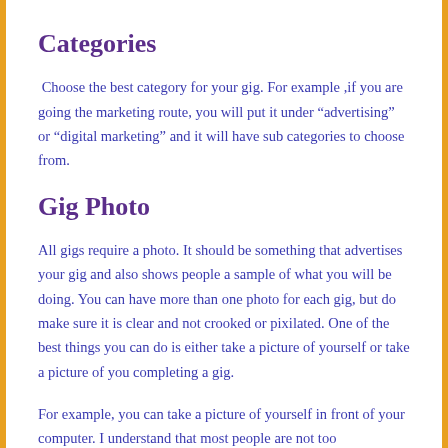Categories
Choose the best category for your gig. For example ,if you are going the marketing route, you will put it under “advertising” or “digital marketing” and it will have sub categories to choose from.
Gig Photo
All gigs require a photo. It should be something that advertises your gig and also shows people a sample of what you will be doing. You can have more than one photo for each gig, but do make sure it is clear and not crooked or pixilated. One of the best things you can do is either take a picture of yourself or take a picture of you completing a gig.
For example, you can take a picture of yourself in front of your computer. I understand that most people are not too comfortable